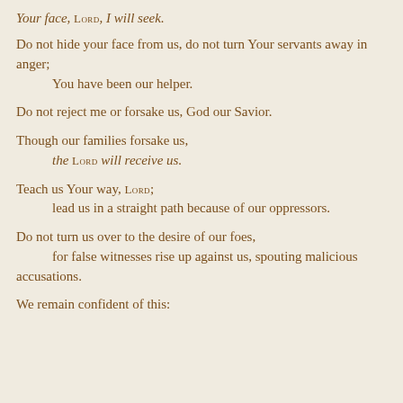Your face, LORD, I will seek.
Do not hide your face from us, do not turn Your servants away in anger;
    You have been our helper.
Do not reject me or forsake us, God our Savior.
Though our families forsake us,
    the LORD will receive us.
Teach us Your way, LORD;
    lead us in a straight path because of our oppressors.
Do not turn us over to the desire of our foes,
    for false witnesses rise up against us, spouting malicious accusations.
We remain confident of this: